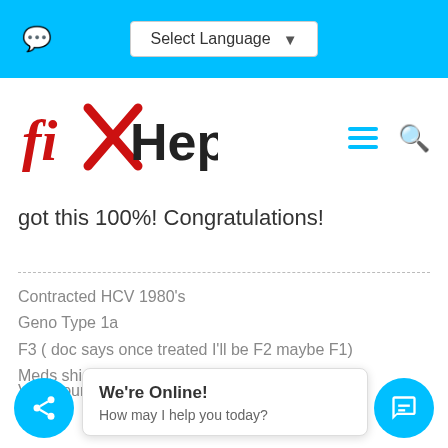Select Language
[Figure (logo): fixHepC logo with red X through 'fix' text and 'HepC' in black]
got this 100%! Congratulations!
Contracted HCV 1980's
Geno Type 1a
F3 ( doc says once treated I'll be F2 maybe F1)
Meds shipped 6/17/2016 arrived early 7/2016
Viral count - 3,471,080
quantitative bl...
gnosed as <1...
We're Online!
How may I help you today?